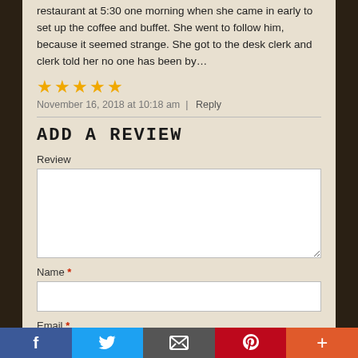restaurant at 5:30 one morning when she came in early to set up the coffee and buffet. She went to follow him, because it seemed strange. She got to the desk clerk and clerk told her no one has been by…
[Figure (other): Five gold star rating icons]
November 16, 2018 at 10:18 am  |  Reply
ADD A REVIEW
Review
Name *
Email *
[Figure (other): Social sharing bar with Facebook, Twitter, Email, Pinterest, and More buttons]